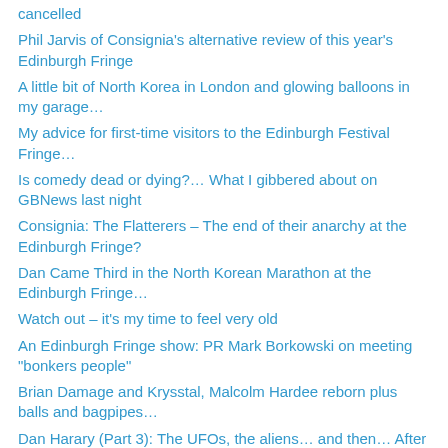cancelled
Phil Jarvis of Consignia's alternative review of this year's Edinburgh Fringe
A little bit of North Korea in London and glowing balloons in my garage…
My advice for first-time visitors to the Edinburgh Festival Fringe…
Is comedy dead or dying?… What I gibbered about on GBNews last night
Consignia: The Flatterers – The end of their anarchy at the Edinburgh Fringe?
Dan Came Third in the North Korean Marathon at the Edinburgh Fringe…
Watch out – it's my time to feel very old
An Edinburgh Fringe show: PR Mark Borkowski on meeting "bonkers people"
Brian Damage and Krysstal, Malcolm Hardee reborn plus balls and bagpipes…
Dan Harary (Part 3): The UFOs, the aliens… and then… After They Came…
Dan Harary (Part 2): Seinfeld, sex and party night at the Playboy